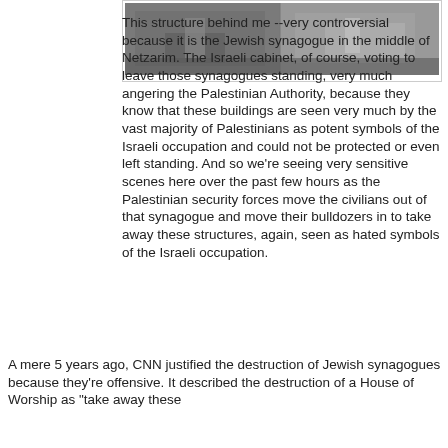[Figure (photo): News photograph showing people and machinery at a demolition/construction site, likely Gaza/Netzarim synagogue demolition scene]
This structure behind me --very controversial because it is the Jewish synagogue in the middle of Netzarim. The Israeli cabinet, of course, voting to leave those synagogues standing, very much angering the Palestinian Authority, because they know that these buildings are seen very much by the vast majority of Palestinians as potent symbols of the Israeli occupation and could not be protected or even left standing. And so we're seeing very sensitive scenes here over the past few hours as the Palestinian security forces move the civilians out of that synagogue and move their bulldozers in to take away these structures, again, seen as hated symbols of the Israeli occupation.
A mere 5 years ago, CNN justified the destruction of Jewish synagogues because they're offensive. It described the destruction of a House of Worship as "take away these